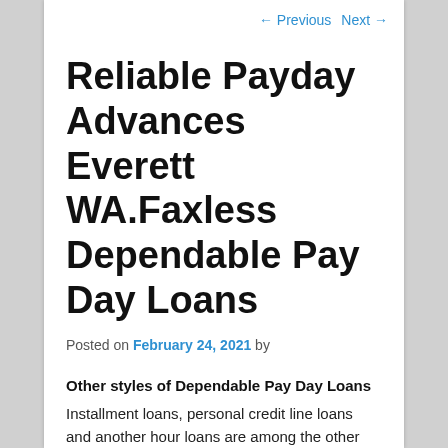← Previous   Next →
Reliable Payday Advances Everett WA.Faxless Dependable Pay Day Loans
Posted on February 24, 2021 by
Other styles of Dependable Pay Day Loans
Installment loans, personal credit line loans and another hour loans are among the other loan solutions which can be available on NationalCashCredit. If you want one of these brilliant forms of loans then click on the desired